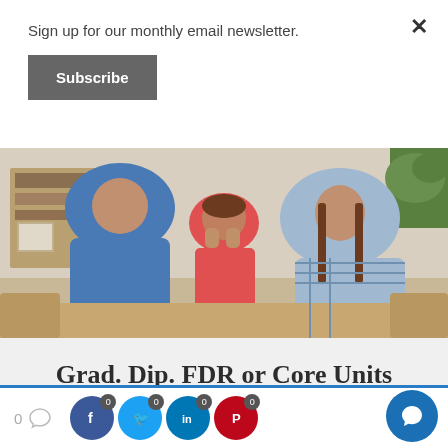Sign up for our monthly email newsletter.
Subscribe
[Figure (photo): A child sitting between two adults who appear to be in conflict, with the child resting her face in her hands looking distressed. Interior home setting.]
Grad. Dip. FDR or Core Units
Fully online training, self-paced course with video mediation role plays.
0  [comment icon]  [Facebook 0]  [Twitter 0]  [LinkedIn 0]  [Pinterest 0]  [Chat button]